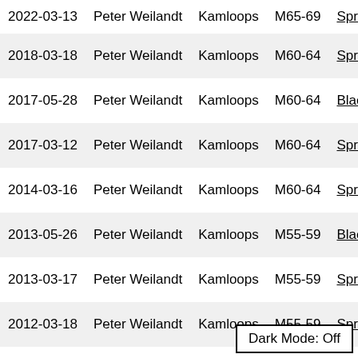| Date | Name | Club | Category | Race |
| --- | --- | --- | --- | --- |
| 2022-03-13 | Peter Weilandt | Kamloops | M65-69 | Spring … |
| 2018-03-18 | Peter Weilandt | Kamloops | M60-64 | Spring … |
| 2017-05-28 | Peter Weilandt | Kamloops | M60-64 | Blackw… |
| 2017-03-12 | Peter Weilandt | Kamloops | M60-64 | Spring … |
| 2014-03-16 | Peter Weilandt | Kamloops | M60-64 | Spring … |
| 2013-05-26 | Peter Weilandt | Kamloops | M55-59 | Blackw… |
| 2013-03-17 | Peter Weilandt | Kamloops | M55-59 | Spring … |
| 2012-03-18 | Peter Weilandt | Kamloops | M55-59 | Spring … |
Dark Mode: Off